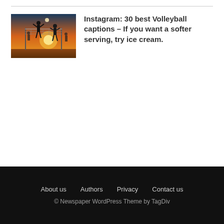[Figure (photo): Silhouette of volleyball players at net during sunset, with orange and blue sky]
Instagram: 30 best Volleyball captions – If you want a softer serving, try ice cream.
About us   Authors   Privacy   Contact us
© Newspaper WordPress Theme by TagDiv